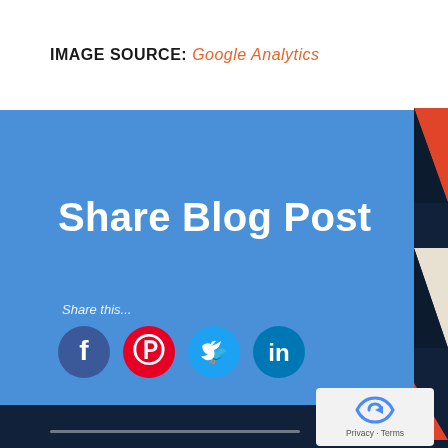IMAGE SOURCE: Google Analytics
[Figure (screenshot): Share Blog Post social sharing UI on blue background with Facebook, Pinterest, Twitter, LinkedIn icons and decorative geometric shapes on right side]
[Figure (logo): reCAPTCHA widget with Privacy and Terms links]